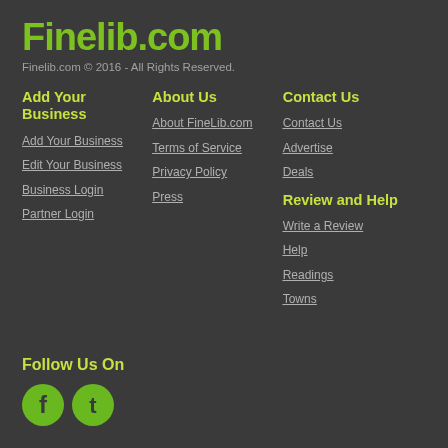Finelib.com
Finelib.com © 2016 - All Rights Reserved.
Add Your Business
Add Your Business
Edit Your Business
Business Login
Partner Login
About Us
About FineLib.com
Terms of Service
Privacy Policy
Press
Contact Us
Contact Us
Advertise
Deals
Review and Help
Write a Review
Help
Readings
Towns
Follow Us On
[Figure (logo): Facebook and Twitter social media icons in green circles]